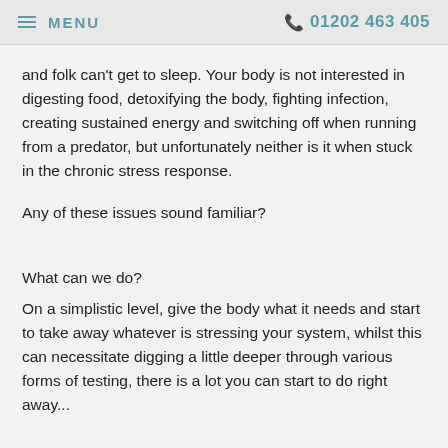≡ MENU   📞 01202 463 405
and folk can't get to sleep. Your body is not interested in digesting food, detoxifying the body, fighting infection, creating sustained energy and switching off when running from a predator, but unfortunately neither is it when stuck in the chronic stress response.
Any of these issues sound familiar?
What can we do?
On a simplistic level, give the body what it needs and start to take away whatever is stressing your system, whilst this can necessitate digging a little deeper through various forms of testing, there is a lot you can start to do right away...